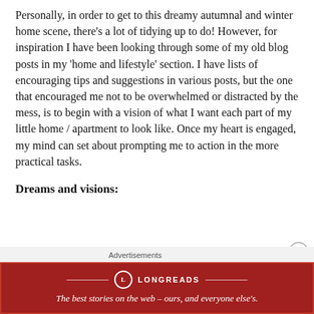Personally, in order to get to this dreamy autumnal and winter home scene, there's a lot of tidying up to do! However, for inspiration I have been looking through some of my old blog posts in my 'home and lifestyle' section. I have lists of encouraging tips and suggestions in various posts, but the one that encouraged me not to be overwhelmed or distracted by the mess, is to begin with a vision of what I want each part of my little home / apartment to look like. Once my heart is engaged, my mind can set about prompting me to action in the more practical tasks.
Dreams and visions:
[Figure (other): Longreads advertisement banner: dark red background with Longreads logo and tagline 'The best stories on the web – ours, and everyone else's.']